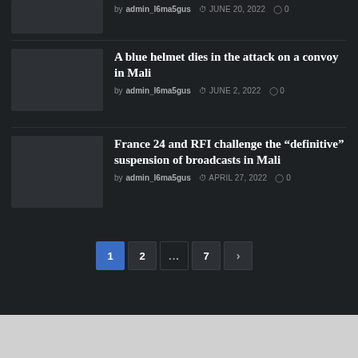by admin_l6ma5gus  JUNE 20, 2022  0
A blue helmet dies in the attack on a convoy in Mali
by admin_l6ma5gus  JUNE 2, 2022  0
France 24 and RFI challenge the “definitive” suspension of broadcasts in Mali
by admin_l6ma5gus  APRIL 27, 2022  0
1  2  ...  7  ›